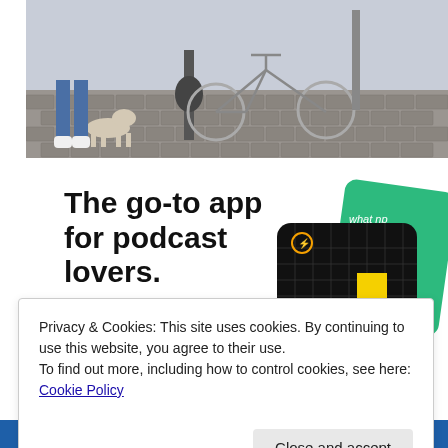[Figure (photo): Street scene with a dog near a lamp post and a bicycle chained to a pole on cobblestone pavement]
The go-to app for podcast lovers.
Download now
[Figure (illustration): Podcast app advertisement showing app cards including 99% Invisible podcast card (black with yellow square) and a green card reading 'On...']
Privacy & Cookies: This site uses cookies. By continuing to use this website, you agree to their use.
To find out more, including how to control cookies, see here: Cookie Policy
Close and accept